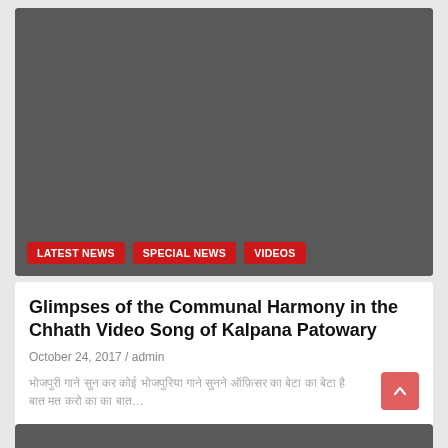[Figure (screenshot): Dark gray video/media placeholder area at top of card]
LATEST NEWS
SPECIAL NEWS
VIDEOS
Glimpses of the Communal Harmony in the Chhath Video Song of Kalpana Patowary
October 24, 2017 / admin
भोजपुरी गाने सुन कर कोई भोजपुरिया गाने सुनने ऑफ़िसर का बेटा का बेटा है…